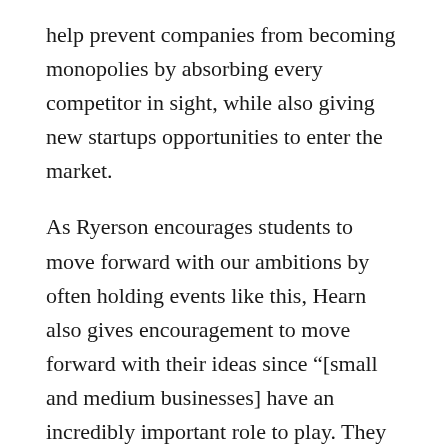help prevent companies from becoming monopolies by absorbing every competitor in sight, while also giving new startups opportunities to enter the market.
As Ryerson encourages students to move forward with our ambitions by often holding events like this, Hearn also gives encouragement to move forward with their ideas since “[small and medium businesses] have an incredibly important role to play. They are able to be more innovative…to invest more in R&D, and probably don’t have the political pressures…[or] quarterly earnings targets to meet.”
Though she may be right in saying “ [small businesses] are unfortunately no longer the backbone of our economy” because of how larger companies have